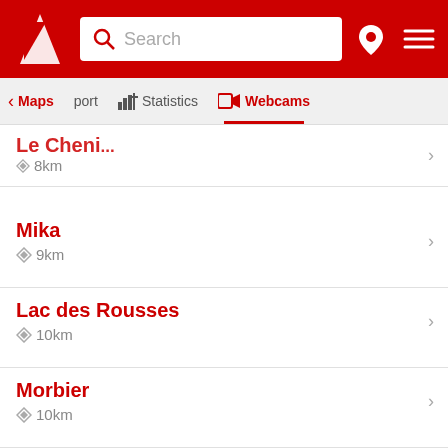Search header with Maps, port, Statistics, Webcams navigation tabs
Le Cheni... 8km
Mika 9km
Lac des Rousses 10km
Morbier 10km
Morez 10km